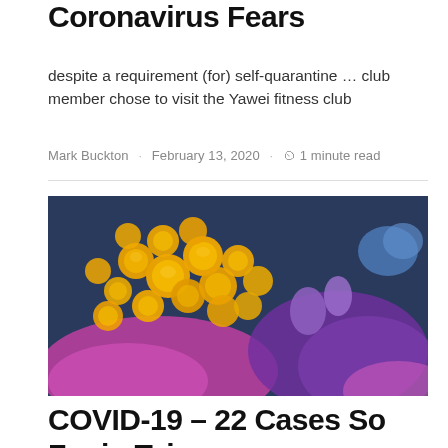Coronavirus Fears
despite a requirement (for) self-quarantine … club member chose to visit the Yawei fitness club
Mark Buckton · February 13, 2020 · 1 minute read
[Figure (photo): Electron microscope image of coronavirus particles (yellow/orange spherical virions) on a cell surface with pink/purple and blue coloring]
COVID-19 – 22 Cases So Far in Taiwan